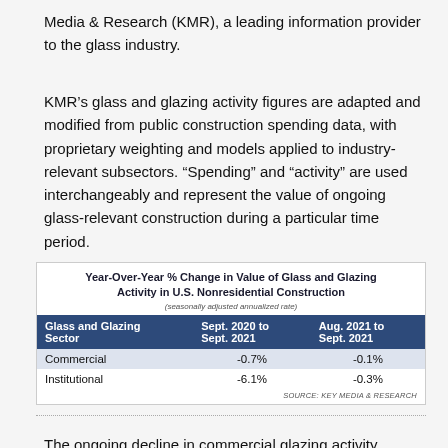Media & Research (KMR), a leading information provider to the glass industry.
KMR’s glass and glazing activity figures are adapted and modified from public construction spending data, with proprietary weighting and models applied to industry-relevant subsectors. “Spending” and “activity” are used interchangeably and represent the value of ongoing glass-relevant construction during a particular time period.
| Glass and Glazing Sector | Sept. 2020 to Sept. 2021 | Aug. 2021 to Sept. 2021 |
| --- | --- | --- |
| Commercial | -0.7% | -0.1% |
| Institutional | -6.1% | -0.3% |
The ongoing decline in commercial glazing activity